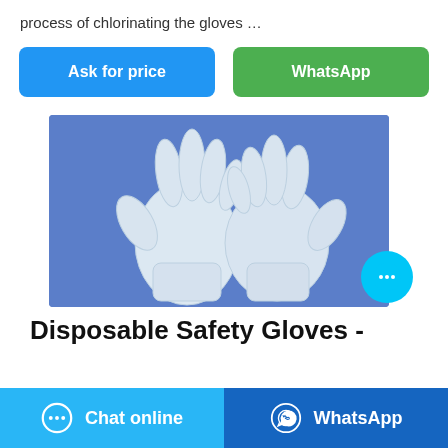process of chlorinating the gloves …
[Figure (other): Two blue 'Ask for price' and green 'WhatsApp' action buttons]
[Figure (photo): Two white/translucent disposable latex safety gloves laid flat on a blue background]
Disposable Safety Gloves -
[Figure (other): Bottom bar with 'Chat online' (light blue) and 'WhatsApp' (dark blue) buttons]